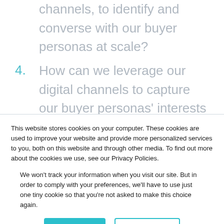How can we better leverage our digital channels, to identify and converse with our buyer personas at scale?
4. How can we leverage our digital channels to capture our buyer personas' interests and buying behaviours, to design a more customer-centric and personalized buyer's
This website stores cookies on your computer. These cookies are used to improve your website and provide more personalized services to you, both on this website and through other media. To find out more about the cookies we use, see our Privacy Policies.
We won't track your information when you visit our site. But in order to comply with your preferences, we'll have to use just one tiny cookie so that you're not asked to make this choice again.